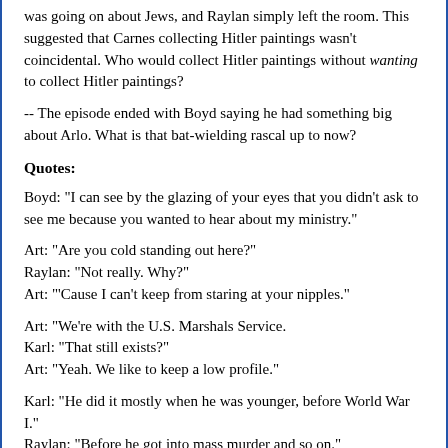was going on about Jews, and Raylan simply left the room. This suggested that Carnes collecting Hitler paintings wasn't coincidental. Who would collect Hitler paintings without wanting to collect Hitler paintings?
-- The episode ended with Boyd saying he had something big about Arlo. What is that bat-wielding rascal up to now?
Quotes:
Boyd: "I can see by the glazing of your eyes that you didn't ask to see me because you wanted to hear about my ministry."
Art: "Are you cold standing out here?"
Raylan: "Not really. Why?"
Art: "'Cause I can't keep from staring at your nipples."
Art: "We're with the U.S. Marshals Service.
Karl: "That still exists?"
Art: "Yeah. We like to keep a low profile."
Karl: "He did it mostly when he was younger, before World War I."
Raylan: "Before he got into mass murder and so on."
Raylan: "I figure people are entitled to their hobbies, and I'm